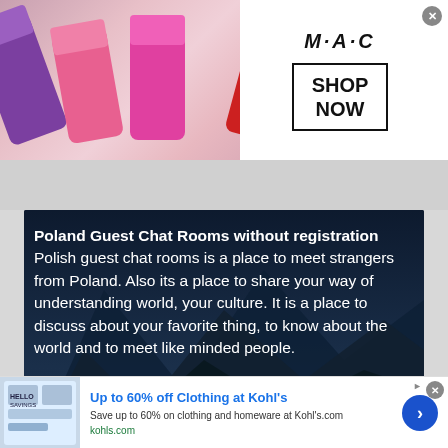[Figure (illustration): MAC Cosmetics advertisement banner showing colorful lipsticks on the left side with MAC logo and a 'SHOP NOW' box on the right side against white background. A close button (x) is visible in the top right corner.]
[Figure (photo): Dark themed image with mountain silhouette in the background (dark blue/teal tones) serving as backdrop for text about Poland Guest Chat Rooms.]
Poland Guest Chat Rooms without registration Polish guest chat rooms is a place to meet strangers from Poland. Also its a place to share your way of understanding world, your culture. It is a place to discuss about your favorite thing, to know about the world and to meet like minded people.
[Figure (screenshot): Kohl's advertisement banner showing 'Up to 60% off Clothing at Kohl's' with a small product image on the left, text description, kohls.com URL in green, and a blue circular arrow button on the right.]